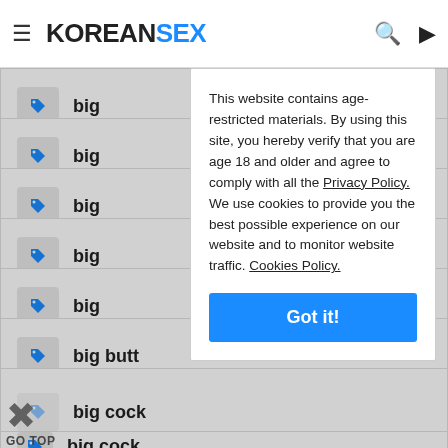KOREANSEX
big
big
big
big
big
big butt
big cock
big cock
This website contains age-restricted materials. By using this site, you hereby verify that you are age 18 and older and agree to comply with all the Privacy Policy. We use cookies to provide you the best possible experience on our website and to monitor website traffic. Cookies Policy.
Got it!
GO TOP